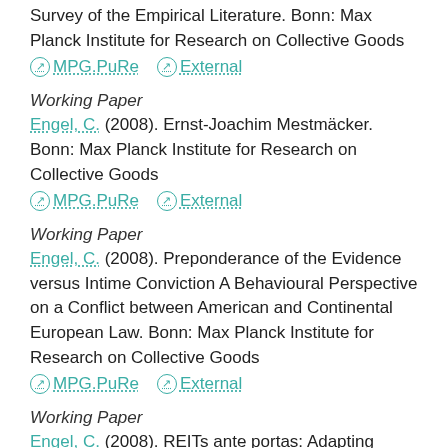Survey of the Empirical Literature. Bonn: Max Planck Institute for Research on Collective Goods
MPG.PuRe   External
Working Paper
Engel, C. (2008). Ernst-Joachim Mestmäcker. Bonn: Max Planck Institute for Research on Collective Goods
MPG.PuRe   External
Working Paper
Engel, C. (2008). Preponderance of the Evidence versus Intime Conviction A Behavioural Perspective on a Conflict between American and Continental European Law. Bonn: Max Planck Institute for Research on Collective Goods
MPG.PuRe   External
Working Paper
Engel, C. (2008). REITs ante portas: Adapting German Law